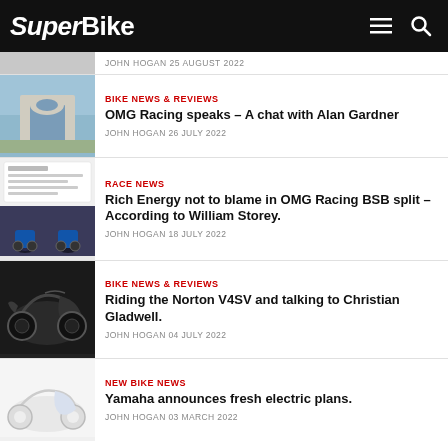SuperBike
JOHN HOGAN 25 AUGUST 2022
[Figure (photo): Arch building exterior photo]
BIKE NEWS & REVIEWS
OMG Racing speaks – A chat with Alan Gardner
JOHN HOGAN 26 JULY 2022
[Figure (photo): Tweet screenshot and racing bikes photo]
RACE NEWS
Rich Energy not to blame in OMG Racing BSB split – According to William Storey.
JOHN HOGAN 18 JULY 2022
[Figure (photo): Dark Norton V4SV motorcycle photo]
BIKE NEWS & REVIEWS
Riding the Norton V4SV and talking to Christian Gladwell.
JOHN HOGAN 04 JULY 2022
[Figure (photo): White motorcycle / Yamaha photo]
NEW BIKE NEWS
Yamaha announces fresh electric plans.
JOHN HOGAN 03 MARCH 2022